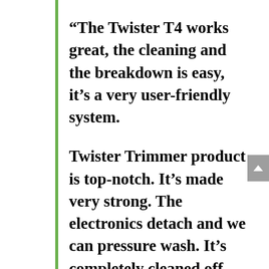“The Twister T4 works great, the cleaning and the breakdown is easy, it’s a very user-friendly system.
Twister Trimmer product is top-notch. It’s made very strong. The electronics detach and we can pressure wash. It’s completely cleaned off